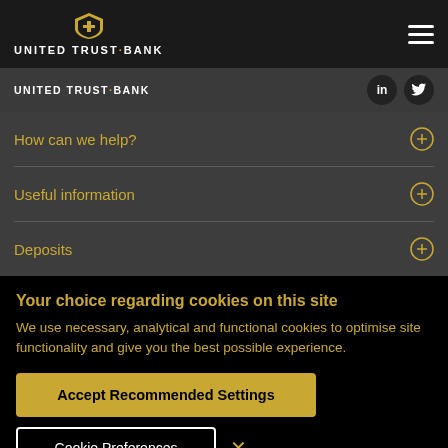UNITED TRUST·BANK
UNITED TRUST·BANK
How can we help?
Useful information
Deposits
Your choice regarding cookies on this site
We use necessary, analytical and functional cookies to optimise site functionality and give you the best possible experience.
Accept Recommended Settings
Cookie Preferences